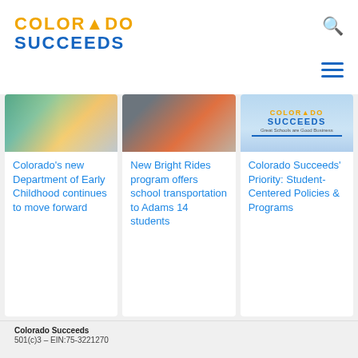[Figure (logo): Colorado Succeeds logo with mountain icon in gold and blue text]
[Figure (photo): Children in a classroom setting]
Colorado's new Department of Early Childhood continues to move forward
[Figure (photo): Students standing outside, one in orange shirt]
New Bright Rides program offers school transportation to Adams 14 students
[Figure (logo): Colorado Succeeds logo on light blue background with tagline Great Schools are Good Business]
Colorado Succeeds' Priority: Student-Centered Policies & Programs
Colorado Succeeds
501(c)3 – EIN:75-3221270